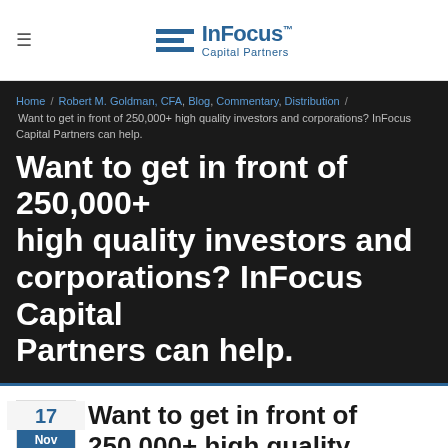InFocus™ Capital Partners
Home / Robert M. Goldman, CFA, Blog, Commentary, Distribution / Want to get in front of 250,000+ high quality investors and corporations? InFocus Capital Partners can help.
Want to get in front of 250,000+ high quality investors and corporations? InFocus Capital Partners can help.
17 Nov  Want to get in front of 250,000+ high quality investors and corporations? InFocus Capital